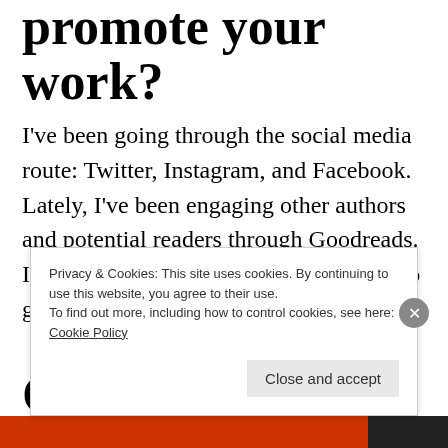promote your work?
I've been going through the social media route: Twitter, Instagram, and Facebook.  Lately, I've been engaging other authors and potential readers through Goodreads. I'm hoping to do some giveaways soon to get more reviews in.
Can you share with
Privacy & Cookies: This site uses cookies. By continuing to use this website, you agree to their use.
To find out more, including how to control cookies, see here: Cookie Policy
Close and accept